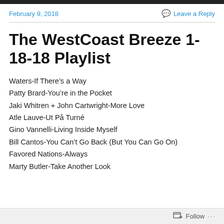February 9, 2018
Leave a Reply
The WestCoast Breeze 1-18-18 Playlist
Waters-If There’s a Way
Patty Brard-You’re in the Pocket
Jaki Whitren + John Cartwright-More Love
Atle Lauve-Ut På Turné
Gino Vannelli-Living Inside Myself
Bill Cantos-You Can’t Go Back (But You Can Go On)
Favored Nations-Always
Marty Butler-Take Another Look
Follow